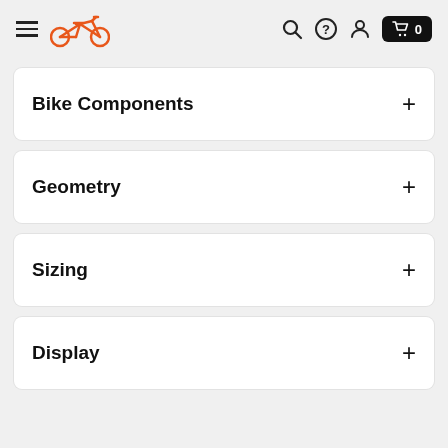Bike shop navigation header with hamburger menu, bicycle logo, search, help, account, and cart icons
Bike Components
Geometry
Sizing
Display